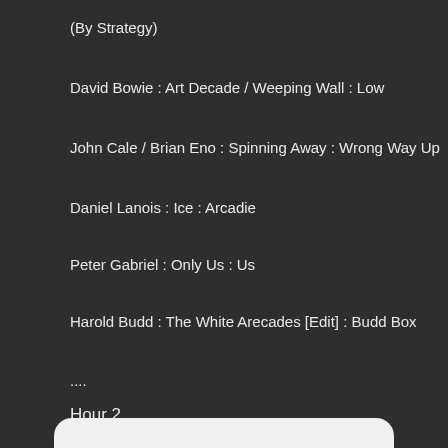(By Strategy)
David Bowie : Art Decade / Weeping Wall : Low
John Cale / Brian Eno : Spinning Away : Wrong Way Up
Daniel Lanois : Ice : Arcadie
Peter Gabriel : Only Us : Us
Harold Budd : The White Arecades [Edit] : Budd Box
....
Hour 2